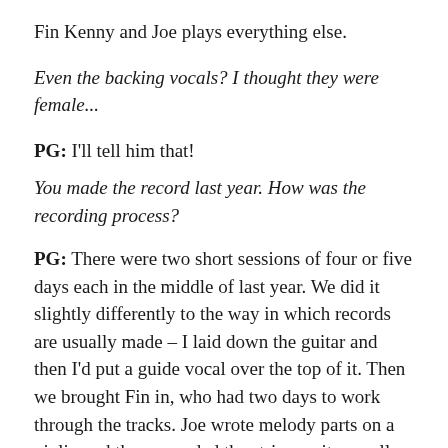Fin Kenny and Joe plays everything else.
Even the backing vocals? I thought they were female...
PG: I'll tell him that!
You made the record last year. How was the recording process?
PG: There were two short sessions of four or five days each in the middle of last year. We did it slightly differently to the way in which records are usually made – I laid down the guitar and then I'd put a guide vocal over the top of it. Then we brought Fin in, who had two days to work through the tracks. Joe wrote melody parts on a violin and then recorded the strings – it was all real instruments. He also wrote the various harmony parts.